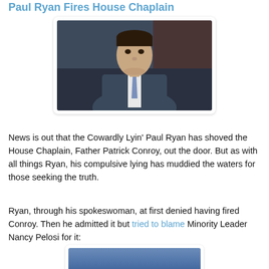Paul Ryan Fires House Chaplain
[Figure (photo): Photo of Paul Ryan in a suit, looking downward with a serious expression]
News is out that the Cowardly Lyin' Paul Ryan has shoved the House Chaplain, Father Patrick Conroy, out the door. But as with all things Ryan, his compulsive lying has muddied the waters for those seeking the truth.
Ryan, through his spokeswoman, at first denied having fired Conroy. Then he admitted it but tried to blame Minority Leader Nancy Pelosi for it:
[Figure (photo): Partial photo visible at bottom of page, appears to show a person against a blue/sky background]